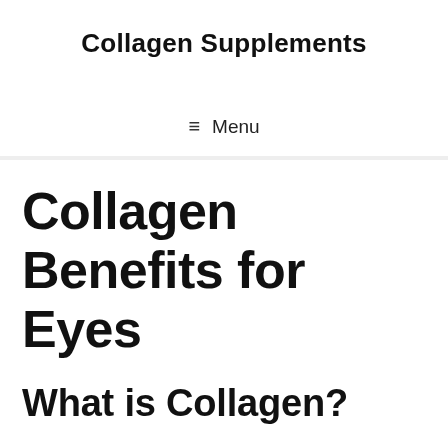Collagen Supplements
≡ Menu
Collagen Benefits for Eyes
What is Collagen?